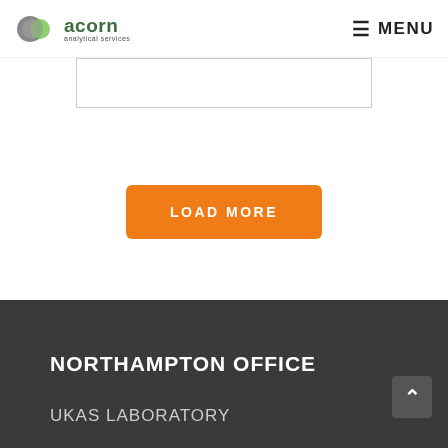acorn analytical services — MENU
[Figure (screenshot): Partial content card/box with border, cropped at top of page content area]
[Figure (other): Orange rounded button with text LOAD MORE]
NORTHAMPTON OFFICE
UKAS LABORATORY